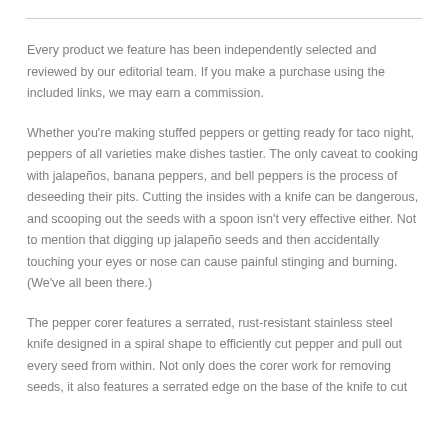Every product we feature has been independently selected and reviewed by our editorial team. If you make a purchase using the included links, we may earn a commission.
Whether you're making stuffed peppers or getting ready for taco night, peppers of all varieties make dishes tastier. The only caveat to cooking with jalapeños, banana peppers, and bell peppers is the process of deseeding their pits. Cutting the insides with a knife can be dangerous, and scooping out the seeds with a spoon isn't very effective either. Not to mention that digging up jalapeño seeds and then accidentally touching your eyes or nose can cause painful stinging and burning. (We've all been there.)
The pepper corer features a serrated, rust-resistant stainless steel knife designed in a spiral shape to efficiently cut pepper and pull out every seed from within. Not only does the corer work for removing seeds, it also features a serrated edge on the base of the knife to cut